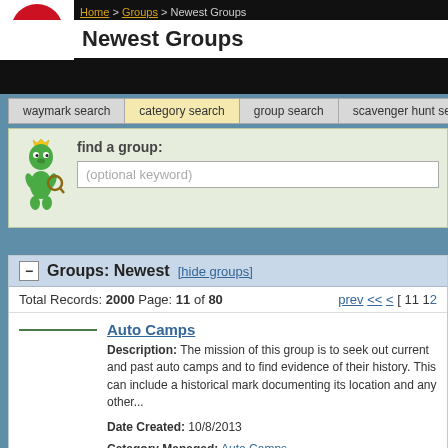Home > Groups > Newest Groups
Newest Groups
waymark search | category search | group search | scavenger hunt search
find a group: (optional keyword)
Groups: Newest [hide groups]
Total Records: 2000 Page: 11 of 80  prev << < [ 11 12...
Auto Camps — Description: The mission of this group is to seek out current and past auto camps and to find evidence of their history. This can include a historical mark documenting its location and any other... Date Created: 10/8/2013 Category Managed: Auto Camps Members: 11
Pizza Pizza